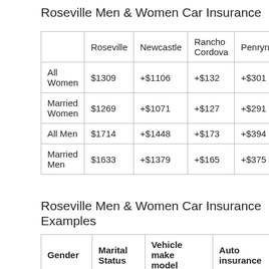Roseville Men & Women Car Insurance
|  | Roseville | Newcastle | Rancho Cordova | Penryn |  |
| --- | --- | --- | --- | --- | --- |
| All Women | $1309 | +$1106 | +$132 | +$301 | + |
| Married Women | $1269 | +$1071 | +$127 | +$291 | + |
| All Men | $1714 | +$1448 | +$173 | +$394 | + |
| Married Men | $1633 | +$1379 | +$165 | +$375 | + |
Roseville Men & Women Car Insurance Examples
| Gender | Marital Status | Vehicle make model | Auto insurance |
| --- | --- | --- | --- |